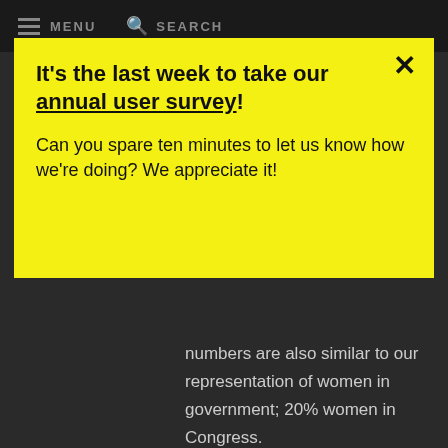MENU  SEARCH
It's the last week to take our annual user survey!
Can you spare ten minutes to let us know how we're doing? We appreciate it!
numbers are also similar to our representation of women in government; 20% women in Congress.
Of course we must focus on the area in which we, as individuals, work--and here that is theater--